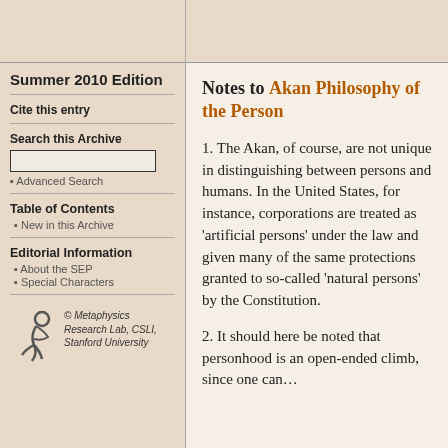Summer 2010 Edition
Cite this entry
Search this Archive
• Advanced Search
Table of Contents
• New in this Archive
Editorial Information
• About the SEP
• Special Characters
© Metaphysics Research Lab, CSLI, Stanford University
Notes to Akan Philosophy of the Person
1. The Akan, of course, are not unique in distinguishing between persons and humans. In the United States, for instance, corporations are treated as 'artificial persons' under the law and given many of the same protections granted to so-called 'natural persons' by the Constitution.
2. It should here be noted that personhood is an open-ended climb, since one can…